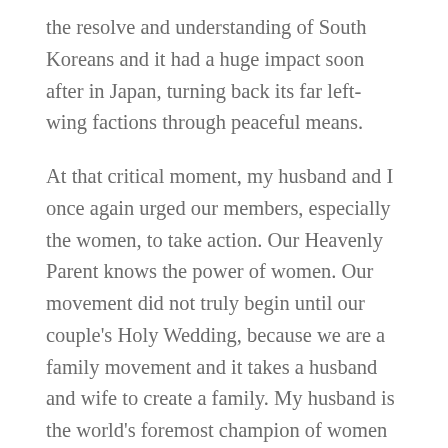the resolve and understanding of South Koreans and it had a huge impact soon after in Japan, turning back its far left-wing factions through peaceful means.

At that critical moment, my husband and I once again urged our members, especially the women, to take action. Our Heavenly Parent knows the power of women. Our movement did not truly begin until our couple's Holy Wedding, because we are a family movement and it takes a husband and wife to create a family. My husband is the world's foremost champion of women as the moral leaders of the family and society. With this conviction, we called Korean blessed wives to sacrifice their family life for a time and as missionaries go to the streets, to the halls of government, to the churches and temples and from house to house, to provide education, empower the people and